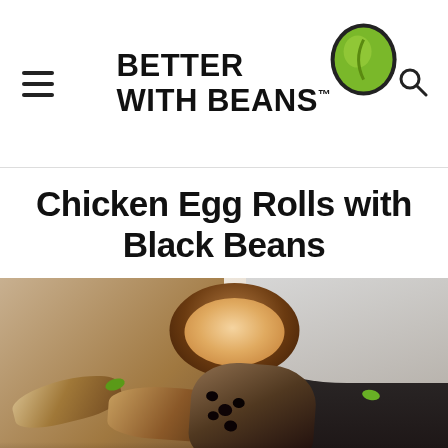Better With Beans
Chicken Egg Rolls with Black Beans
[Figure (photo): Close-up photo of chicken egg rolls with black beans on a white plate, with a small wooden bowl of dipping sauce in the background. One egg roll is cut open showing the black bean and chicken filling. Garnished with sliced green onions.]